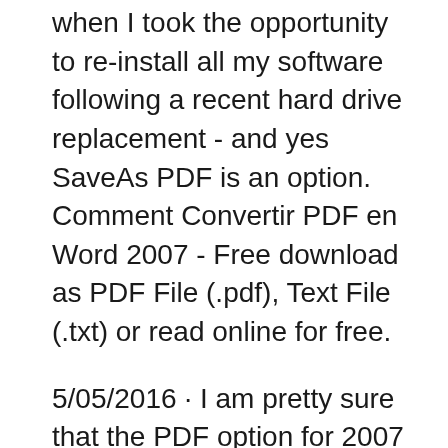when I took the opportunity to re-install all my software following a recent hard drive replacement - and yes SaveAs PDF is an option. Comment Convertir PDF en Word 2007 - Free download as PDF File (.pdf), Text File (.txt) or read online for free.
5/05/2016 · I am pretty sure that the PDF option for 2007 came with the SP2 update (included in the SP3 update). In any case it would be a good plan to update 2007 to SP3 spec - and that link does work. I updated my own copy when I took the opportunity to re-install all my software following a recent hard drive replacement - and yes SaveAs PDF is an option. Comment Convertir PDF